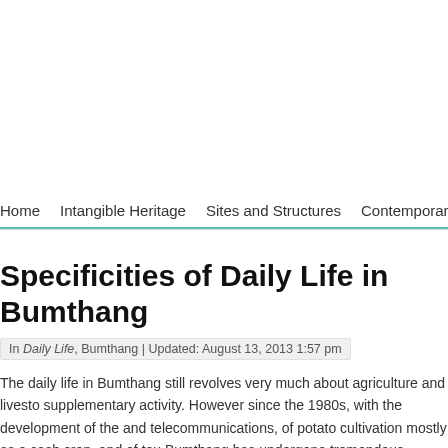Home | Intangible Heritage | Sites and Structures | Contemporary Arts | Cu...
Specificities of Daily Life in Bumthang
In Daily Life, Bumthang | Updated: August 13, 2013 1:57 pm
The daily life in Bumthang still revolves very much about agriculture and livestock as a supplementary activity. However since the 1980s, with the development of the and telecommunications, of potato cultivation mostly as a cash crop, and of tou Bumthang has undergone tremendous changes. They are better off and live in hygienic conditions. But till today in the villages, taking bath is a luxury.
Used to harsh weather and hard life, the people of Bumthang are industrious a...